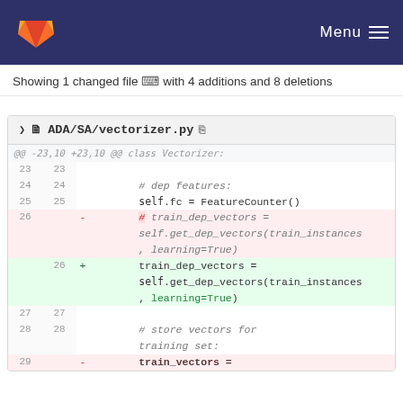GitLab — Menu
Showing 1 changed file with 4 additions and 8 deletions
[Figure (screenshot): Git diff view of ADA/SA/vectorizer.py showing removed commented-out code and added uncommented version of train_dep_vectors assignment]
ADA/SA/vectorizer.py
@@ -23,10 +23,10 @@ class Vectorizer:
23  23      
24  24          # dep features:
25  25          self.fc = FeatureCounter()
26     -        # train_dep_vectors = self.get_dep_vectors(train_instances, learning=True)
   26  +        train_dep_vectors = self.get_dep_vectors(train_instances, learning=True)
27  27      
28  28          # store vectors for training set:
29     -        train_vectors =